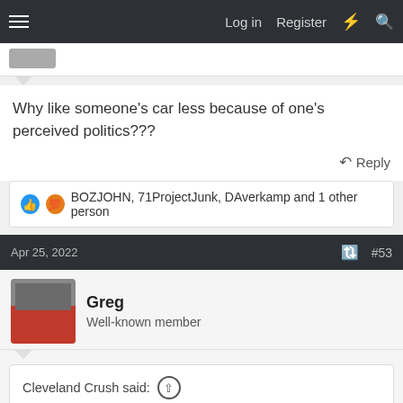Log in  Register
Why like someone's car less because of one's perceived politics???
Reply
BOZJOHN, 71ProjectJunk, DAverkamp and 1 other person
Apr 25, 2022  #53
Greg
Well-known member
Cleveland Crush said: